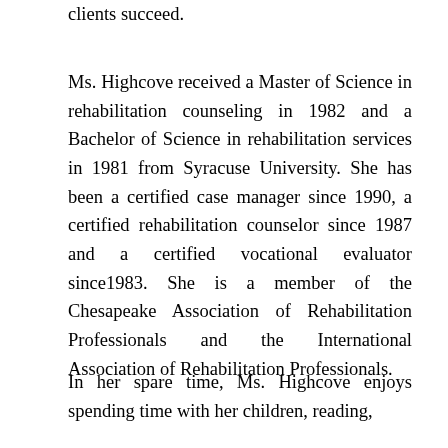clients succeed.
Ms. Highcove received a Master of Science in rehabilitation counseling in 1982 and a Bachelor of Science in rehabilitation services in 1981 from Syracuse University. She has been a certified case manager since 1990, a certified rehabilitation counselor since 1987 and a certified vocational evaluator since1983. She is a member of the Chesapeake Association of Rehabilitation Professionals and the International Association of Rehabilitation Professionals.
In her spare time, Ms. Highcove enjoys spending time with her children, reading,